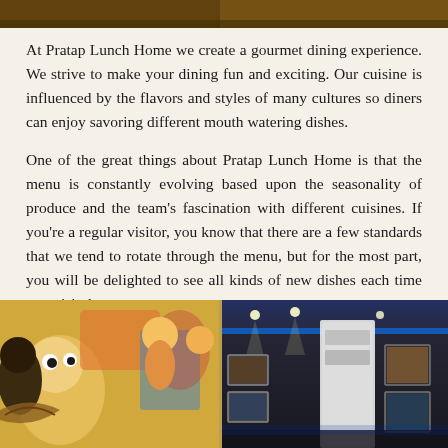[Figure (photo): Top portion of a restaurant interior photo, partially cropped at the top of the page]
At Pratap Lunch Home we create a gourmet dining experience. We strive to make your dining fun and exciting. Our cuisine is influenced by the flavors and styles of many cultures so diners can enjoy savoring different mouth watering dishes.
One of the great things about Pratap Lunch Home is that the menu is constantly evolving based upon the seasonality of produce and the team's fascination with different cuisines. If you're a regular visitor, you know that there are a few standards that we tend to rotate through the menu, but for the most part, you will be delighted to see all kinds of new dishes each time you visit the restaurant.
[Figure (photo): Two restaurant interior photos side by side: left shows colorful cartoon/mural artwork on wall, right shows modern restaurant interior with blue LED lighting and framed pictures]